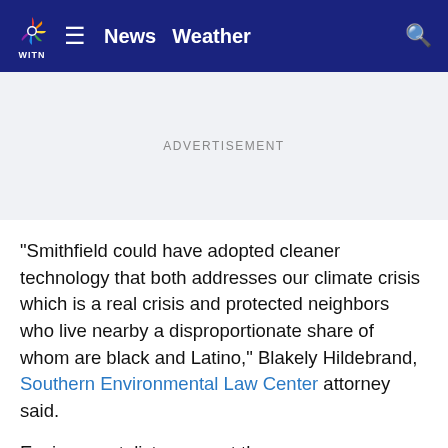WITN News Weather
ADVERTISEMENT
“Smithfield could have adopted cleaner technology that both addresses our climate crisis which is a real crisis and protected neighbors who live nearby a disproportionate share of whom are black and Latino,” Blakely Hildebrand, Southern Environmental Law Center attorney said.
Environmentalists suggest there are Environmental Support Technologies (ESTs) that will better prevent waste and pollution from spreading into nearby waterways and communities.